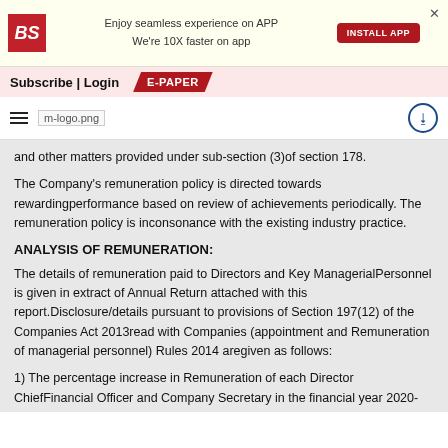[Figure (screenshot): Business Standard app banner with BS logo, text 'Enjoy seamless experience on APP We're 10X faster on app', INSTALL APP button, and close X]
Subscribe | Login   E-PAPER
[Figure (logo): m-logo.png navigation bar with hamburger menu and share icon]
and other matters provided under sub-section (3)of section 178.
The Company's remuneration policy is directed towards rewardingperformance based on review of achievements periodically. The remuneration policy is inconsonance with the existing industry practice.
ANALYSIS OF REMUNERATION:
The details of remuneration paid to Directors and Key ManagerialPersonnel is given in extract of Annual Return attached with this report.Disclosure/details pursuant to provisions of Section 197(12) of the Companies Act 2013read with Companies (appointment and Remuneration of managerial personnel) Rules 2014 aregiven as follows:
1) The percentage increase in Remuneration of each Director ChiefFinancial Officer and Company Secretary in the financial year 2020-